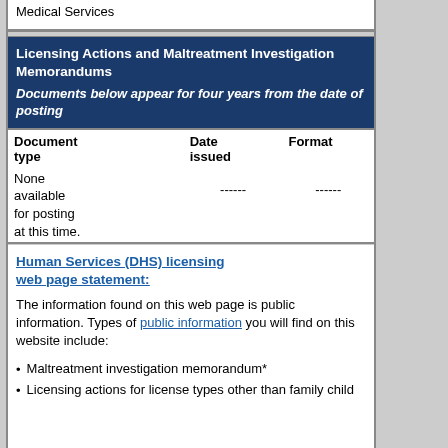Medical Services
Licensing Actions and Maltreatment Investigation Memorandums
Documents below appear for four years from the date of posting
| Document type | Date issued | Format |
| --- | --- | --- |
| None available for posting at this time. | ------ | ------ |
Human Services (DHS) licensing web page statement:
The information found on this web page is public information. Types of public information you will find on this website include:
Maltreatment investigation memorandum*
Licensing actions for license types other than family child